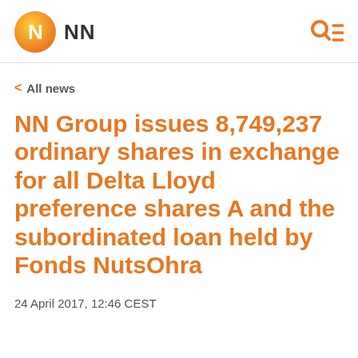NN
< All news
NN Group issues 8,749,237 ordinary shares in exchange for all Delta Lloyd preference shares A and the subordinated loan held by Fonds NutsOhra
24 April 2017, 12:46 CEST